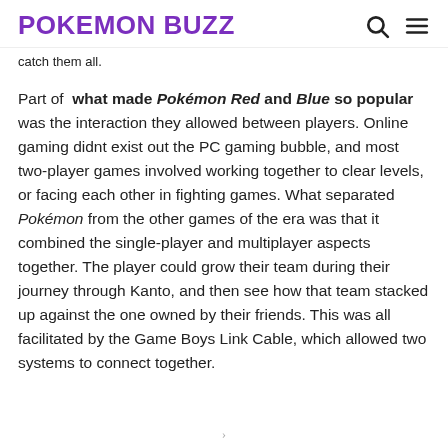POKEMON BUZZ
catch them all.
Part of what made Pokémon Red and Blue so popular was the interaction they allowed between players. Online gaming didnt exist out the PC gaming bubble, and most two-player games involved working together to clear levels, or facing each other in fighting games. What separated Pokémon from the other games of the era was that it combined the single-player and multiplayer aspects together. The player could grow their team during their journey through Kanto, and then see how that team stacked up against the one owned by their friends. This was all facilitated by the Game Boys Link Cable, which allowed two systems to connect together.